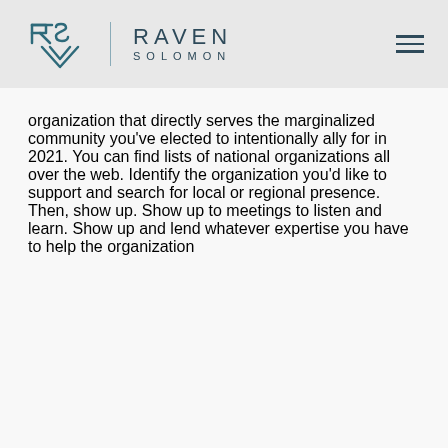RAVEN SOLOMON
organization that directly serves the marginalized community you've elected to intentionally ally for in 2021. You can find lists of national organizations all over the web. Identify the organization you'd like to support and search for local or regional presence. Then, show up. Show up to meetings to listen and learn. Show up and lend whatever expertise you have to help the organization